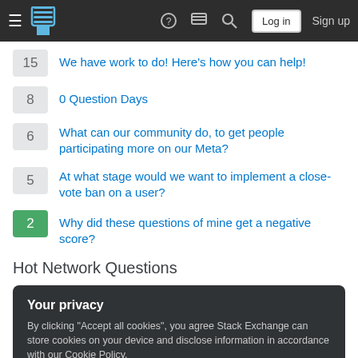Stack Exchange navigation bar with hamburger menu, logo, help, chat, search, Log in, Sign up
15  We have work to do! Here's how you can help!
8  0 Question Days
6  What can our community do, to get people participating more on our Meta?
5  At what stage would we want to implement a close-vote ban on a user?
2  Why did these questions of mine get a negative score?
Hot Network Questions
Your privacy
By clicking "Accept all cookies", you agree Stack Exchange can store cookies on your device and disclose information in accordance with our Cookie Policy.
Accept all cookies  Customize settings
What does "Have you been drinking?" really mean.